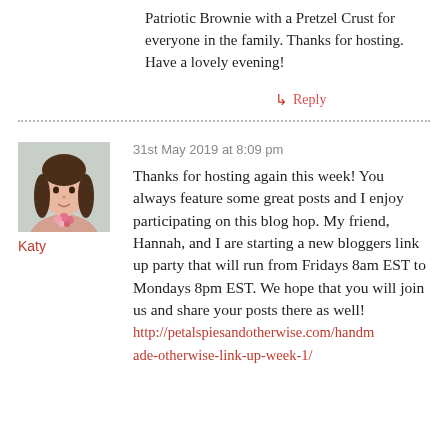Patriotic Brownie with a Pretzel Crust for everyone in the family. Thanks for hosting. Have a lovely evening!
↳ Reply
31st May 2019 at 8:09 pm
[Figure (photo): Profile photo of commenter Katy, a woman with long dark hair wearing a floral accessory]
Katy
Thanks for hosting again this week! You always feature some great posts and I enjoy participating on this blog hop. My friend, Hannah, and I are starting a new bloggers link up party that will run from Fridays 8am EST to Mondays 8pm EST. We hope that you will join us and share your posts there as well!
http://petalspiesandotherwise.com/handmade-otherwise-link-up-week-1/